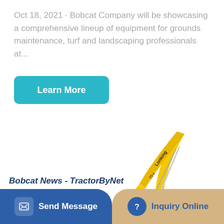Oct 18, 2021 · Bobcat Company will be showcasing a comprehensive lineup of equipment for grounds maintenance, turf and landscaping professionals at...
Learn More
[Figure (photo): Yellow Lonking brand excavator/crawler hydraulic excavator on white background, showing extended boom arm with bucket attachment and cab unit on tracked undercarriage]
Send Message
Inquiry Online
Bobcat News - TractorByNet